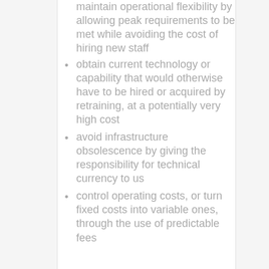maintain operational flexibility by allowing peak requirements to be met while avoiding the cost of hiring new staff
obtain current technology or capability that would otherwise have to be hired or acquired by retraining, at a potentially very high cost
avoid infrastructure obsolescence by giving the responsibility for technical currency to us
control operating costs, or turn fixed costs into variable ones, through the use of predictable fees